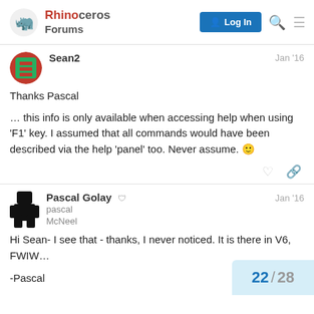Rhinoceros Forums
Sean2 Jan '16
Thanks Pascal
… this info is only available when accessing help when using 'F1' key. I assumed that all commands would have been described via the help 'panel' too. Never assume. 🙂
Pascal Golay [mod] Jan '16
pascal
McNeel
Hi Sean- I see that - thanks, I never noticed. It is there in V6, FWIW…
-Pascal
22 / 28